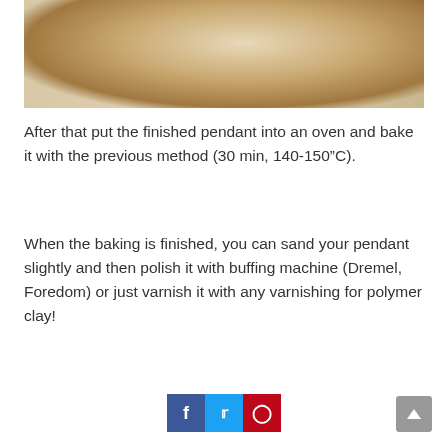[Figure (photo): A hand holding a decorative pendant with a gold border and a red dragon design on black background, with a knife and a bottle visible in the background.]
After that put the finished pendant into an oven and bake it with the previous method (30 min, 140-150”C).
When the baking is finished, you can sand your pendant slightly and then polish it with buffing machine (Dremel, Foredom) or just varnish it with any varnishing for polymer clay!